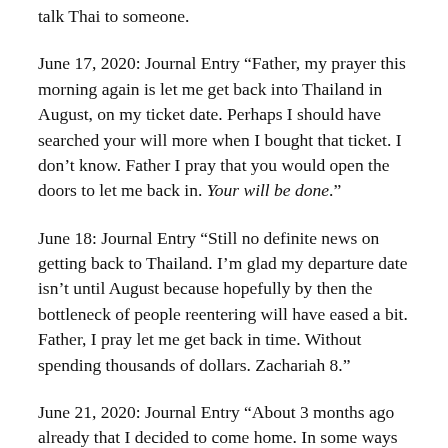talk Thai to someone.
June 17, 2020: Journal Entry “Father, my prayer this morning again is let me get back into Thailand in August, on my ticket date. Perhaps I should have searched your will more when I bought that ticket. I don’t know. Father I pray that you would open the doors to let me back in. Your will be done.”
June 18: Journal Entry “Still no definite news on getting back to Thailand. I’m glad my departure date isn’t until August because hopefully by then the bottleneck of people reentering will have eased a bit. Father, I pray let me get back in time. Without spending thousands of dollars. Zachariah 8.”
June 21, 2020: Journal Entry “About 3 months ago already that I decided to come home. In some ways it’s gone so slowly, in other ways so fast. Jesus, getting back into